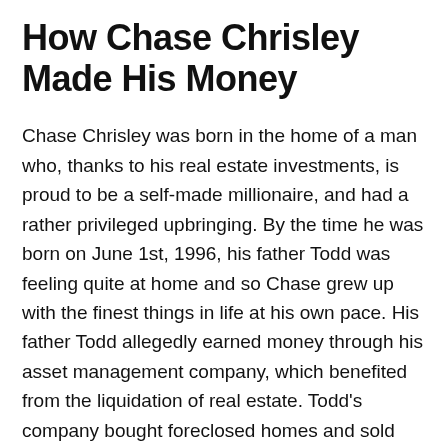How Chase Chrisley Made His Money
Chase Chrisley was born in the home of a man who, thanks to his real estate investments, is proud to be a self-made millionaire, and had a rather privileged upbringing. By the time he was born on June 1st, 1996, his father Todd was feeling quite at home and so Chase grew up with the finest things in life at his own pace. His father Todd allegedly earned money through his asset management company, which benefited from the liquidation of real estate. Todd's company bought foreclosed homes and sold them at a profit.